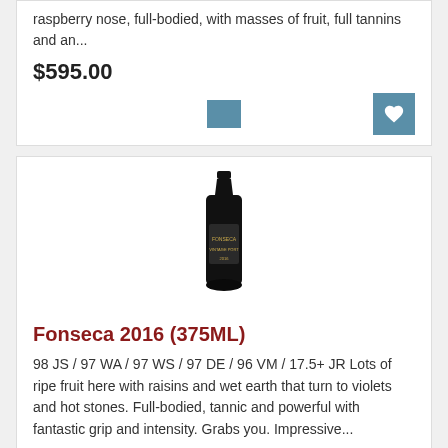raspberry nose, full-bodied, with masses of fruit, full tannins and an...
$595.00
[Figure (photo): Wine bottle of Fonseca 2016 (375ML) dark bottle with label]
Fonseca 2016 (375ML)
98 JS / 97 WA / 97 WS / 97 DE / 96 VM / 17.5+ JR Lots of ripe fruit here with raisins and wet earth that turn to violets and hot stones. Full-bodied, tannic and powerful with fantastic grip and intensity. Grabs you. Impressive...
$42.89